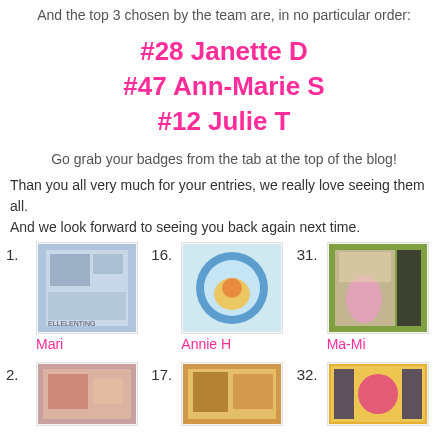And the top 3 chosen by the team are, in no particular order:
#28 Janette D
#47 Ann-Marie S
#12 Julie T
Go grab your badges from the tab at the top of the blog!
Than you all very much for your entries, we really love seeing them all. And we look forward to seeing you back again next time.
1. Mari
16. Annie H
31. Ma-Mi
2.
17.
32.